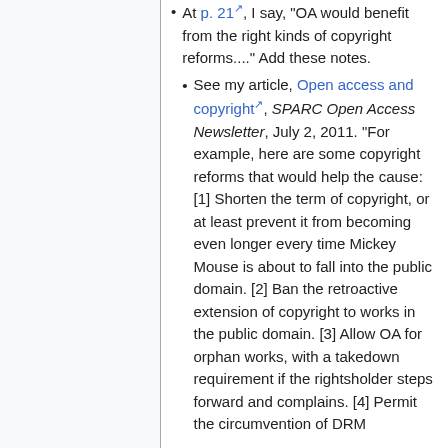At p. 21, I say, "OA would benefit from the right kinds of copyright reforms...." Add these notes.
See my article, Open access and copyright, SPARC Open Access Newsletter, July 2, 2011. "For example, here are some copyright reforms that would help the cause: [1] Shorten the term of copyright, or at least prevent it from becoming even longer every time Mickey Mouse is about to fall into the public domain. [2] Ban the retroactive extension of copyright to works in the public domain. [3] Allow OA for orphan works, with a takedown requirement if the rightsholder steps forward and complains. [4] Permit the circumvention of DRM...